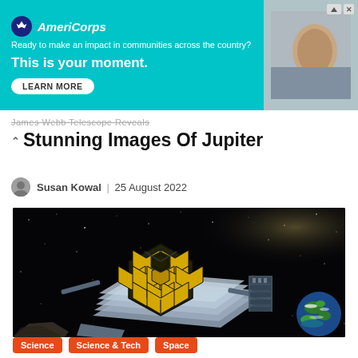[Figure (other): AmeriCorps advertisement banner with teal background. Logo on left showing AmeriCorps name, tagline 'Ready to make an impact in communities across the country? This is your moment.' with a LEARN MORE button. Right side shows a person photo.]
James Webb Telescope Reveals Stunning Images Of Jupiter
Susan Kowal | 25 August 2022
[Figure (photo): James Webb Space Telescope illustration in space with golden hexagonal mirror array visible, Earth partially visible in lower right corner, against a black starfield background.]
Science
Science & Tech
Space